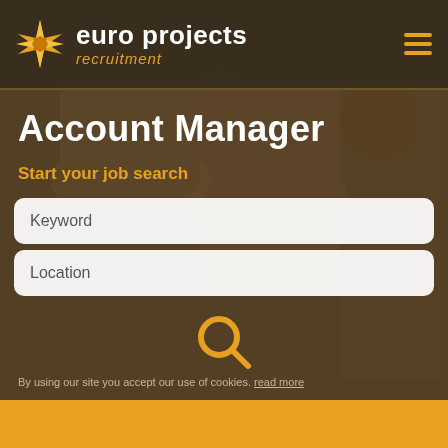[Figure (logo): Euro Projects Recruitment logo with orange star/compass icon and text]
Account Manager
Start your job search
[Figure (screenshot): Keyword search input field (white rounded rectangle)]
[Figure (screenshot): Location search input field (white rounded rectangle)]
[Figure (other): Orange search/magnifying glass icon button]
By using our site you accept our use of cookies. read more